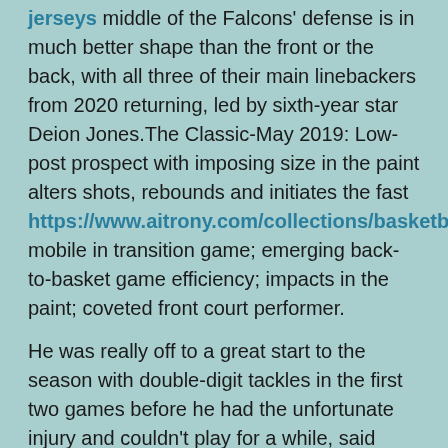jerseys middle of the Falcons' defense is in much better shape than the front or the back, with all three of their main linebackers from 2020 returning, led by sixth-year star Deion Jones.The Classic-May 2019: Low-post prospect with imposing size in the paint alters shots, rebounds and initiates the fast https://www.aitrony.com/collections/basketball mobile in transition game; emerging back-to-basket game efficiency; impacts in the paint; coveted front court performer.

He was really off to a great start to the season with double-digit tackles in the first two games before he had the unfortunate injury and couldn't play for a while, said Spytek.If you blow a lead of 15 points for a second straight week, you get an 'F,' Breech writes.Nike Cup-July 2018: Combo-guard with range at